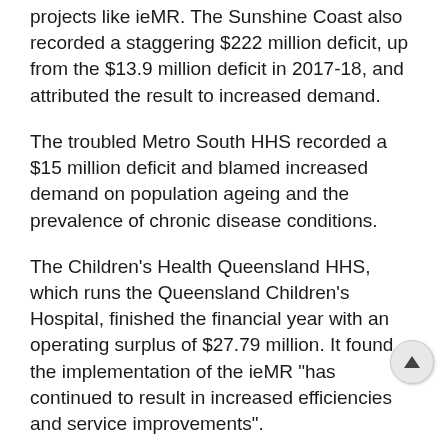projects like ieMR. The Sunshine Coast also recorded a staggering $222 million deficit, up from the $13.9 million deficit in 2017-18, and attributed the result to increased demand.
The troubled Metro South HHS recorded a $15 million deficit and blamed increased demand on population ageing and the prevalence of chronic disease conditions.
The Children's Health Queensland HHS, which runs the Queensland Children's Hospital, finished the financial year with an operating surplus of $27.79 million. It found the implementation of the ieMR "has continued to result in increased efficiencies and service improvements".
The hospital was one of the state's best-performing hospitals. It exceeded its target of treating the second-most serious category on time.